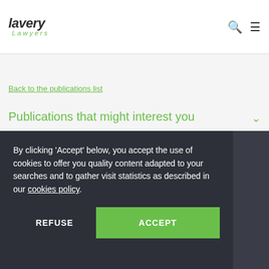lavery Lawyers
Back to the publications list
Publications that might interest you
By clicking 'Accept' below, you accept the use of cookies to offer you quality content adapted to your searches and to gather visit statistics as described in our cookies policy.
REFUSE
ACCEPT